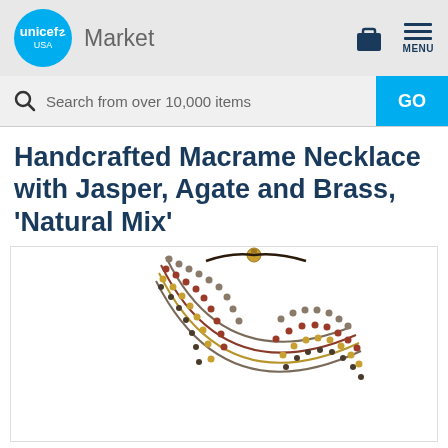UNICEF USA Market
Search from over 10,000 items
Handcrafted Macrame Necklace with Jasper, Agate and Brass, 'Natural Mix'
[Figure (photo): Photo of a handcrafted macrame necklace with multiple strands of jasper, agate and brass beads in earth tones — red, brown, gold — with a small brass bell clasp at the top, shown on a white background.]